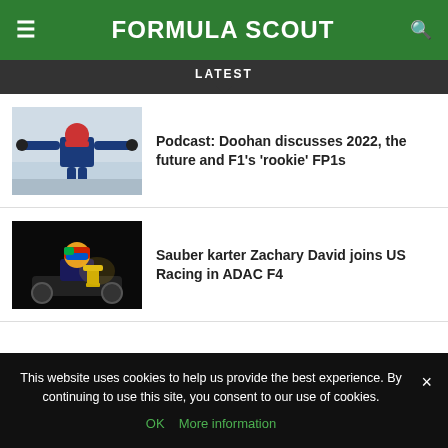FORMULA SCOUT
LATEST
[Figure (photo): Racing driver with arms outstretched wearing blue suit and helmet, gray sky background]
Podcast: Doohan discusses 2022, the future and F1’s ‘rookie’ FP1s
[Figure (photo): Kart racer with colorful helmet holding trophy in dark setting]
Sauber karter Zachary David joins US Racing in ADAC F4
This website uses cookies to help us provide the best experience. By continuing to use this site, you consent to our use of cookies.
OK   More information